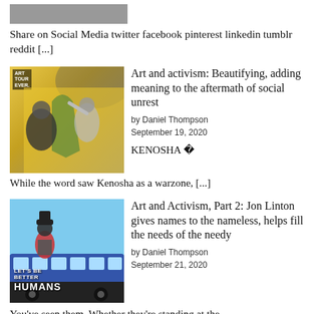[Figure (photo): Small cropped image at top of page, appears to be a street or outdoor scene]
Share on Social Media twitter facebook pinterest linkedin tumblr reddit [...]
[Figure (photo): Two people painting a mural on a yellow wall, wearing masks]
Art and activism: Beautifying, adding meaning to the aftermath of social unrest
by Daniel Thompson
September 19, 2020
KENOSHA — While the word saw Kenosha as a warzone, [...]
[Figure (photo): Man in hat and vest standing in front of a bus with 'LET'S BE BETTER HUMANS' text]
Art and Activism, Part 2: Jon Linton gives names to the nameless, helps fill the needs of the needy
by Daniel Thompson
September 21, 2020
You've seen them. Whether they're standing at the